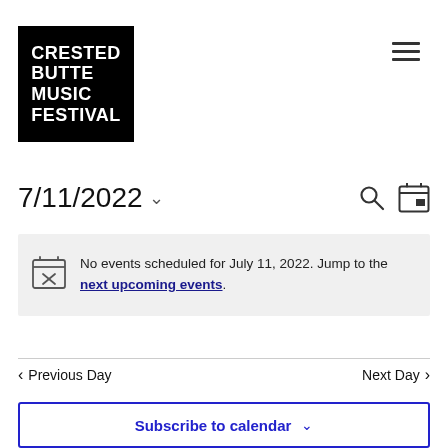[Figure (logo): Crested Butte Music Festival logo — white bold text on black square background]
[Figure (other): Hamburger menu icon (three horizontal lines)]
7/11/2022
No events scheduled for July 11, 2022. Jump to the next upcoming events.
Previous Day
Next Day
Subscribe to calendar